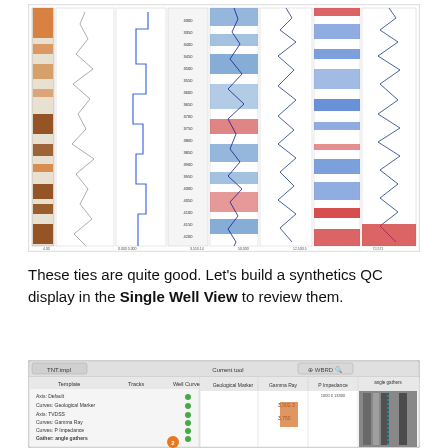[Figure (continuous-plot): Multi-track well log display showing gamma ray, P-impedance, synthetic seismic traces with blue/red color fill, and seismic waveform tracks. Depth-based display with multiple columns including color-coded amplitude tracks.]
These ties are quite good. Let’s build a synthetics QC display in the Single Well View to review them.
[Figure (screenshot): Single Well View interface screenshot showing a well log template panel on the left with items: Axis: Default, Curves: Geological Marker, Axis: TVDSS, Curves: Gamma Ray, Curves: P Impedance, Axis: TWT, Gather: angle gathers (item 2). The right panel shows log tracks including Geological Marker, Gamma Ray, P Impedance, and angle gathers columns with seismic data visible. Numbered orange circles mark items 1 and 2.]